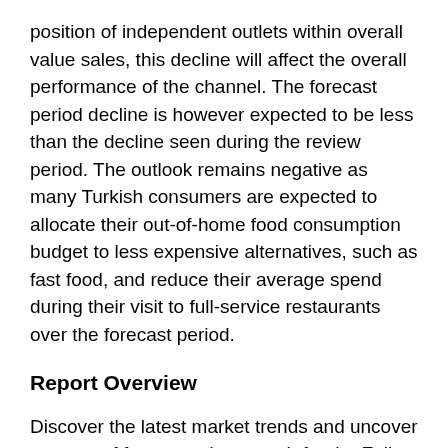position of independent outlets within overall value sales, this decline will affect the overall performance of the channel. The forecast period decline is however expected to be less than the decline seen during the review period. The outlook remains negative as many Turkish consumers are expected to allocate their out-of-home food consumption budget to less expensive alternatives, such as fast food, and reduce their average spend during their visit to full-service restaurants over the forecast period.
Report Overview
Discover the latest market trends and uncover sources of future market growth for the Full-Service